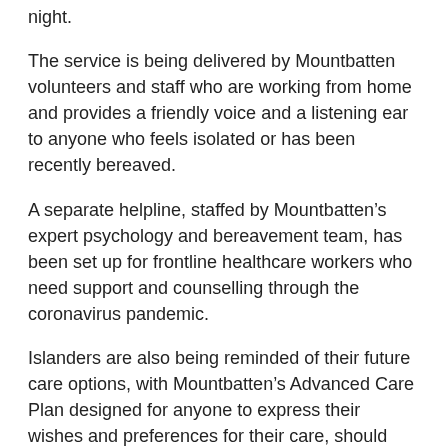night.
The service is being delivered by Mountbatten volunteers and staff who are working from home and provides a friendly voice and a listening ear to anyone who feels isolated or has been recently bereaved.
A separate helpline, staffed by Mountbatten's expert psychology and bereavement team, has been set up for frontline healthcare workers who need support and counselling through the coronavirus pandemic.
Islanders are also being reminded of their future care options, with Mountbatten's Advanced Care Plan designed for anyone to express their wishes and preferences for their care, should they become unable to communicate.
“We must try to help everyone as we make our way through new and unprecedented challenges,” Nigel added.